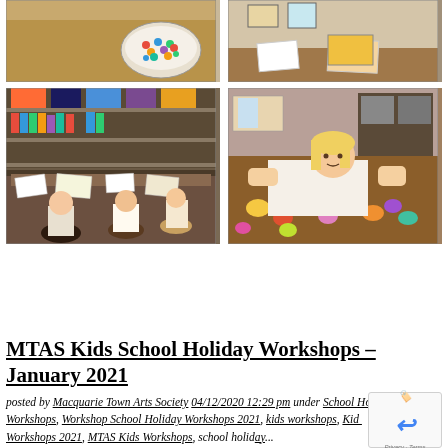[Figure (photo): Top-left partial photo showing art supplies and colorful beads/candies in a bowl on a wooden table]
[Figure (photo): Top-right partial photo showing children at a table with artwork and papers]
[Figure (photo): Bottom-left photo showing children doing art/craft workshop at a table covered with materials, art on walls in background]
[Figure (photo): Bottom-right photo showing a young blonde girl painting small rocks/stones on a wooden table]
MTAS Kids School Holiday Workshops – January 2021
posted by Macquarie Town Arts Society 04/12/2020 12:29 pm under School Holiday Workshops, Workshop School Holiday Workshops 2021, kids workshops, Kids Workshops 2021, MTAS Kids Workshops, school holiday...